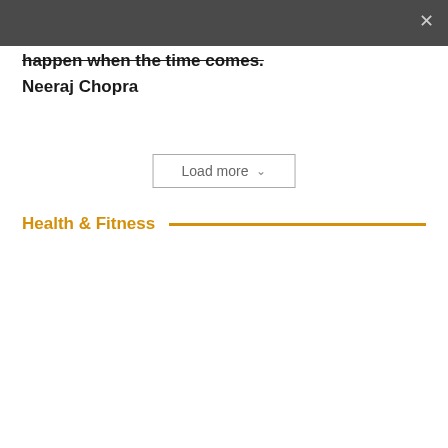happen when the time comes. Neeraj Chopra
Load more
Health & Fitness